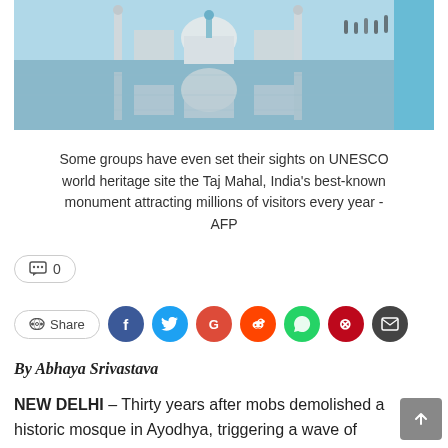[Figure (photo): Photograph of the Taj Mahal reflected in a long rectangular reflecting pool, with a blue tiled edge visible on the right side and people in the background.]
Some groups have even set their sights on UNESCO world heritage site the Taj Mahal, India's best-known monument attracting millions of visitors every year - AFP
💬 0
👁 Share
By Abhaya Srivastava
NEW DELHI – Thirty years after mobs demolished a historic mosque in Ayodhya, triggering a wave of sectarian bloodshed that saw thousands killed, fundamentalist Indian Hindu groups are eyeing other Muslim sites – even the world famous Taj Mahal